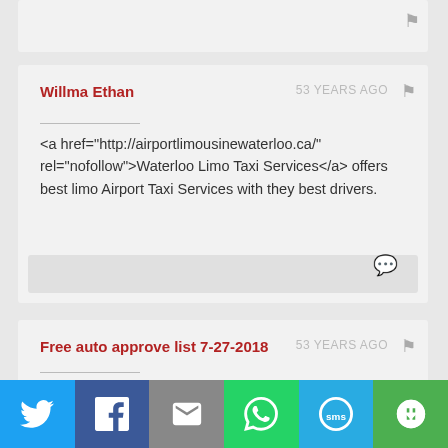[Figure (screenshot): Partial top comment card with flag icon]
Willma Ethan
53 YEARS AGO
<a href="http://airportlimousinewaterloo.ca/" rel="nofollow">Waterloo Limo Taxi Services</a> offers best limo Airport Taxi Services with they best drivers.
Free auto approve list 7-27-2018
53 YEARS AGO
[Figure (screenshot): Social share bar with Twitter, Facebook, Email, WhatsApp, SMS, and more icons]